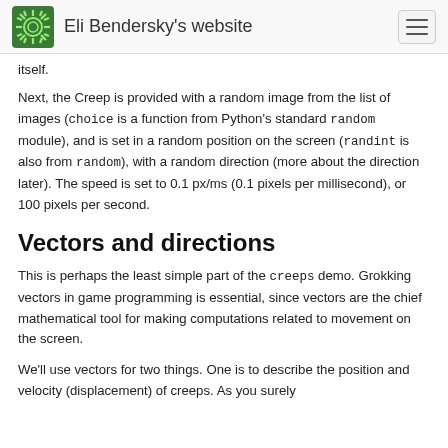Eli Bendersky's website
itself.
Next, the Creep is provided with a random image from the list of images (choice is a function from Python's standard random module), and is set in a random position on the screen (randint is also from random), with a random direction (more about the direction later). The speed is set to 0.1 px/ms (0.1 pixels per millisecond), or 100 pixels per second.
Vectors and directions
This is perhaps the least simple part of the creeps demo. Grokking vectors in game programming is essential, since vectors are the chief mathematical tool for making computations related to movement on the screen.
We'll use vectors for two things. One is to describe the position and velocity (displacement) of creeps. As you surely